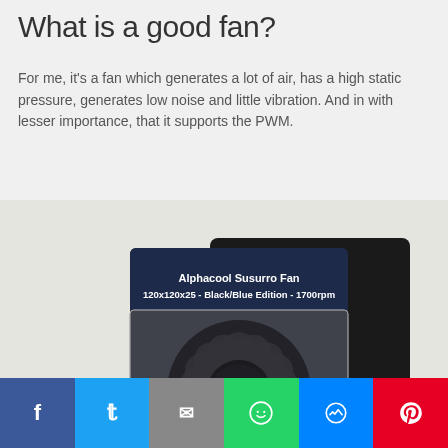What is a good fan?
For me, it's a fan which generates a lot of air, has a high static pressure, generates low noise and little vibration. And in with lesser importance, that it supports the PWM.
[Figure (photo): Alphacool Susurro Fan 120x120x25 - Black/Blue Edition - 1700rpm in packaging]
Facebook | Twitter | Email | WhatsApp | Messenger | Pinterest social share buttons